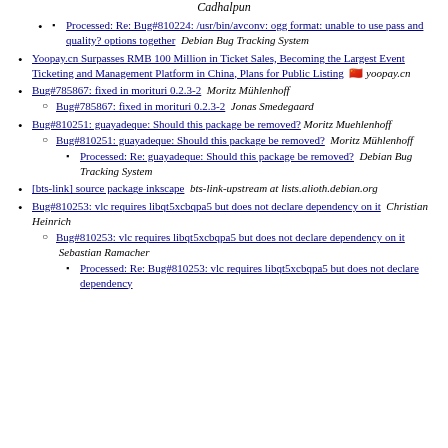Cadhalpun
Processed: Re: Bug#810224: /usr/bin/avconv: ogg format: unable to use pass and quality? options together  Debian Bug Tracking System
Yoopay.cn Surpasses RMB 100 Million in Ticket Sales, Becoming the Largest Event Ticketing and Management Platform in China, Plans for Public Listing  yoopay.cn
Bug#785867: fixed in morituri 0.2.3-2  Moritz Mühlenhoff
Bug#785867: fixed in morituri 0.2.3-2  Jonas Smedegaard
Bug#810251: guayadeque: Should this package be removed?  Moritz Muehlenhoff
Bug#810251: guayadeque: Should this package be removed?  Moritz Mühlenhoff
Processed: Re: guayadeque: Should this package be removed?  Debian Bug Tracking System
[bts-link] source package inkscape  bts-link-upstream at lists.alioth.debian.org
Bug#810253: vlc requires libqt5xcbqpa5 but does not declare dependency on it  Christian Heinrich
Bug#810253: vlc requires libqt5xcbqpa5 but does not declare dependency on it  Sebastian Ramacher
Processed: Re: Bug#810253: vlc requires libqt5xcbqpa5 but does not declare dependency